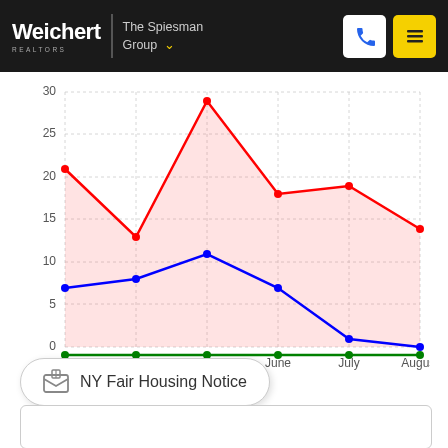Weichert | The Spiesman Group
[Figure (line-chart): ]
NY Fair Housing Notice